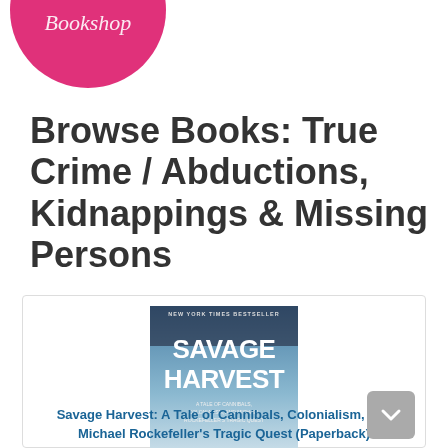[Figure (logo): Partial pink circular logo visible at top left, white cursive text inside]
Browse Books: True Crime / Abductions, Kidnappings & Missing Persons
[Figure (photo): Book cover of 'Savage Harvest: A Tale of Cannibals, Colonialism, and Michael Rockefeller's Tragic Quest' by Carl Hoffman. New York Times Bestseller. Shows silhouette of person with dramatic sky background.]
Savage Harvest: A Tale of Cannibals, Colonialism, and Michael Rockefeller's Tragic Quest (Paperback)
By Carl Hoffman